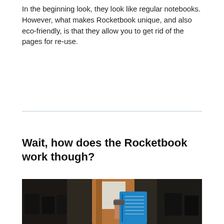In the beginning look, they look like regular notebooks. However, what makes Rocketbook unique, and also eco-friendly, is that they allow you to get rid of the pages for re-use.
Wait, how does the Rocketbook work though?
[Figure (photo): Person carrying a teal/blue Rocketbook notebook, wearing a brown bag/strap over a white shirt, in what appears to be an indoor setting with dark background.]